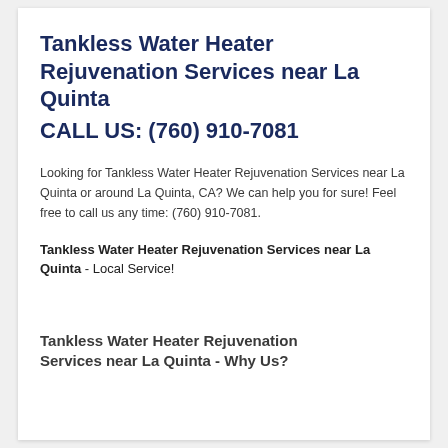Tankless Water Heater Rejuvenation Services near La Quinta
CALL US: (760) 910-7081
Looking for Tankless Water Heater Rejuvenation Services near La Quinta or around La Quinta, CA? We can help you for sure! Feel free to call us any time: (760) 910-7081.
Tankless Water Heater Rejuvenation Services near La Quinta - Local Service!
Tankless Water Heater Rejuvenation Services near La Quinta - Why Us?